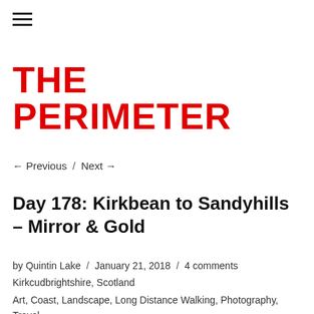☰ (menu icon)
THE PERIMETER
← Previous  /  Next →
Day 178: Kirkbean to Sandyhills – Mirror & Gold
by Quintin Lake  /  January 21, 2018  /  4 comments
Kirkcudbrightshire, Scotland
Art, Coast, Landscape, Long Distance Walking, Photography, Travel